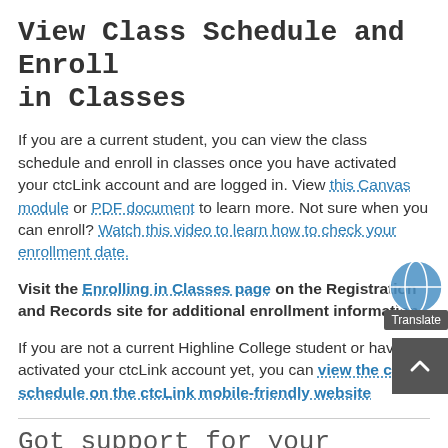View Class Schedule and Enroll in Classes
If you are a current student, you can view the class schedule and enroll in classes once you have activated your ctcLink account and are logged in. View this Canvas module or PDF document to learn more. Not sure when you can enroll? Watch this video to learn how to check your enrollment date.
Visit the Enrolling in Classes page on the Registration and Records site for additional enrollment information.
If you are not a current Highline College student or have not activated your ctcLink account yet, you can view the class schedule on the ctcLink mobile-friendly website
Get support for your specifi…